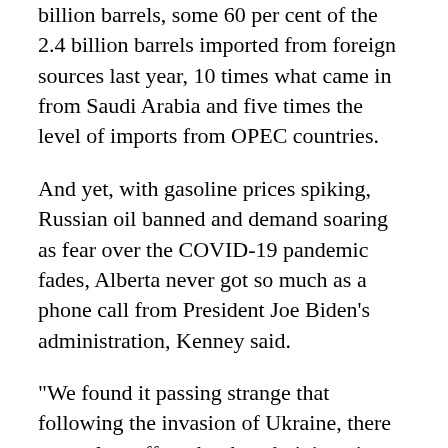billion barrels, some 60 per cent of the 2.4 billion barrels imported from foreign sources last year, 10 times what came in from Saudi Arabia and five times the level of imports from OPEC countries.
And yet, with gasoline prices spiking, Russian oil banned and demand soaring as fear over the COVID-19 pandemic fades, Alberta never got so much as a phone call from President Joe Biden's administration, Kenney said.
"We found it passing strange that following the invasion of Ukraine, there were clear efforts by the administration to reach out to OPEC, Saudi Arabia, Venezuela and Iran, but we have no record of any effort by the administration to reach out to Alberta," Kenney said.